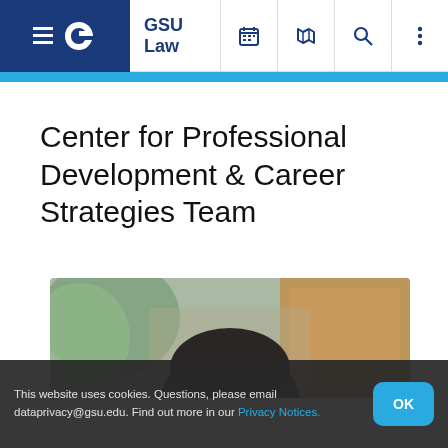GSU Law
Center for Professional Development & Career Strategies Team
[Figure (photo): Blurred outdoor photo showing the top of a person's head with dark hair, green trees and orange/brown building in the background]
This website uses cookies. Questions, please email dataprivacy@gsu.edu. Find out more in our Privacy Notices.